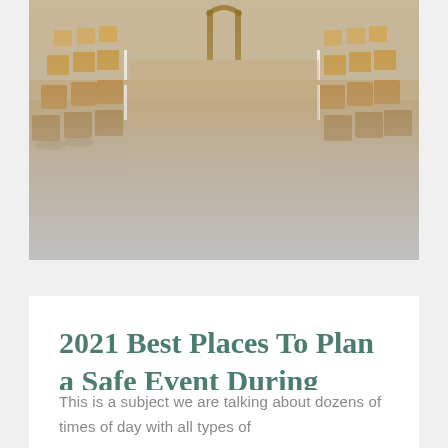[Figure (photo): Outdoor event setup with rows of wooden chairs arranged in an aisle formation on dry grass, with a wooden arch or structure visible in the background. The photo fades into a gray gradient at the bottom.]
2021 Best Places To Plan a Safe Event During COVID
This is a subject we are talking about dozens of times of day with all types of